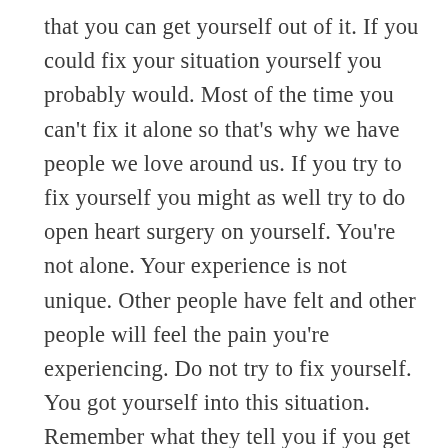that you can get yourself out of it. If you could fix your situation yourself you probably would. Most of the time you can't fix it alone so that's why we have people we love around us. If you try to fix yourself you might as well try to do open heart surgery on yourself. You're not alone. Your experience is not unique. Other people have felt and other people will feel the pain you're experiencing. Do not try to fix yourself. You got yourself into this situation. Remember what they tell you if you get lost in the forest. If you get lost just stop and wait for help. In this situation you do need to stop but you also need to make a call. Call someone you love and who you know loves you and ask them to pick you up. Picking yourself up by your own bootstraps isn't